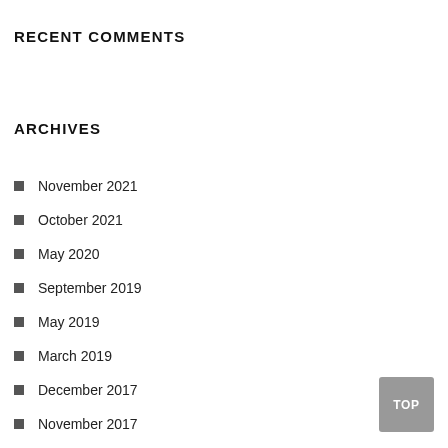RECENT COMMENTS
ARCHIVES
November 2021
October 2021
May 2020
September 2019
May 2019
March 2019
December 2017
November 2017